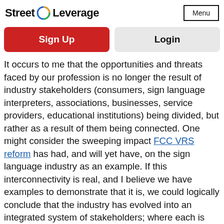Street Leverage | Menu
Sign Up
Login
It occurs to me that the opportunities and threats faced by our profession is no longer the result of industry stakeholders (consumers, sign language interpreters, associations, businesses, service providers, educational institutions) being divided, but rather as a result of them being connected.  One might consider the sweeping impact FCC VRS reform has had, and will yet have, on the sign language industry as an example.  If this interconnectivity is real, and I believe we have examples to demonstrate that it is, we could logically conclude that the industry has evolved into an integrated system of stakeholders; where each is directly or indirectly impacted by the action of another